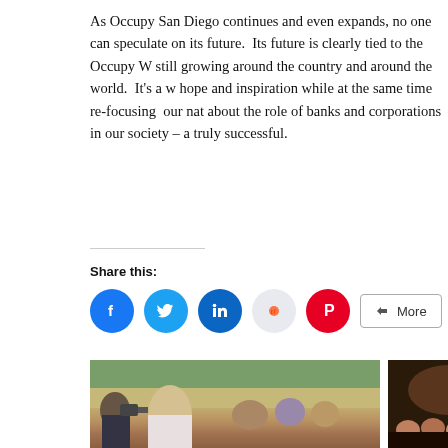As Occupy San Diego continues and even expands, no one can speculate on its future.  Its future is clearly tied to the Occupy W still growing around the country and around the world.  It's a w hope and inspiration while at the same time re-focusing  our nat about the role of banks and corporations in our society – a truly successful.
Share this:
[Figure (other): Social share buttons: Facebook, Twitter, LinkedIn, Reddit, Pinterest, More]
[Figure (photo): Outdoor protest scene with a young person with long blonde hair in a white shirt, police officer and crowd with cameras in background]
[Figure (photo): Dark indoor scene with people seated or gathered]